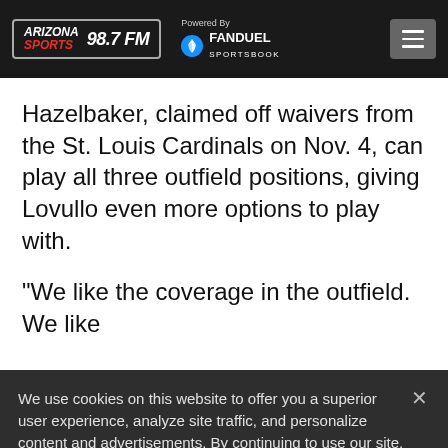Arizona Sports 98.7 FM | Powered By FanDuel Sportsbook
Hazelbaker, claimed off waivers from the St. Louis Cardinals on Nov. 4, can play all three outfield positions, giving Lovullo even more options to play with.
“We like the coverage in the outfield. We like
We use cookies on this website to offer you a superior user experience, analyze site traffic, and personalize content and advertisements. By continuing to use our site, you consent to our use of cookies. Please visit our Privacy Policy for more information.
Accept Cookies